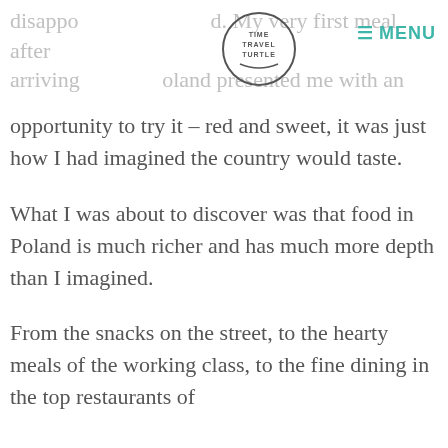disappointed. My very first meal after arriving in Poland presented me with an
opportunity to try it – red and sweet, it was just how I had imagined the country would taste.
What I was about to discover was that food in Poland is much richer and has much more depth than I imagined.
From the snacks on the street, to the hearty meals of the working class, to the fine dining in the top restaurants of